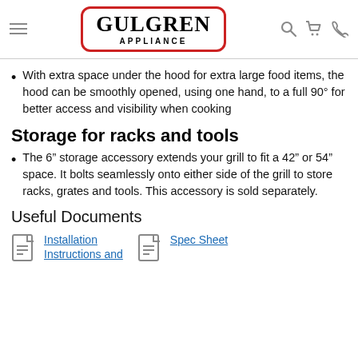Gulgren Appliance
With extra space under the hood for extra large food items, the hood can be smoothly opened, using one hand, to a full 90° for better access and visibility when cooking
Storage for racks and tools
The 6" storage accessory extends your grill to fit a 42" or 54" space. It bolts seamlessly onto either side of the grill to store racks, grates and tools. This accessory is sold separately.
Useful Documents
Installation Instructions and
Spec Sheet